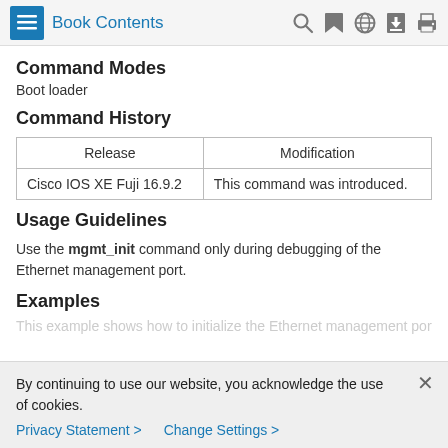Book Contents
Command Modes
Boot loader
Command History
| Release | Modification |
| --- | --- |
| Cisco IOS XE Fuji 16.9.2 | This command was introduced. |
Usage Guidelines
Use the mgmt_init command only during debugging of the Ethernet management port.
Examples
This command helps to initialize the Ethernet management port.
By continuing to use our website, you acknowledge the use of cookies.
Privacy Statement > Change Settings >